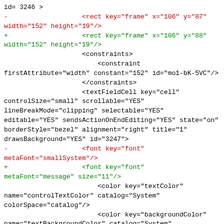id= 3246 >
-                   <rect key="frame" x="106" y="87" width="152" height="19"/>
+                   <rect key="frame" x="106" y="88" width="152" height="19"/>
                    <constraints>
                        <constraint
firstAttribute="width" constant="152" id="mo1-bK-5VC"/>
                    </constraints>
                    <textFieldCell key="cell"
controlSize="small" scrollable="YES"
lineBreakMode="clipping" selectable="YES"
editable="YES" sendsActionOnEndEditing="YES" state="on"
borderStyle="bezel" alignment="right" title="1"
drawsBackground="YES" id="3247">
-                   <font key="font"
metaFont="smallSystem"/>
+                   <font key="font"
metaFont="message" size="11"/>
                        <color key="textColor"
name="controlTextColor" catalog="System"
colorSpace="catalog"/>
                        <color key="backgroundColor"
name="textBackgroundColor" catalog="System"
colorSpace="catalog"/>
                    </textFieldCell>
@@ -1901,25 +1908,25 @@ To open a stream using a different protocol, just press Cancel to close this she
                </connections>
            </textField>
            <stepper